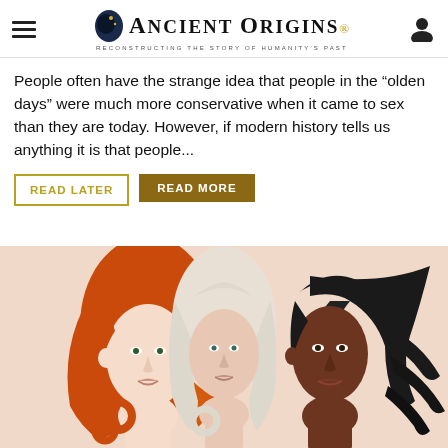Ancient Origins — Reconstructing the story of humanity's past
People often have the strange idea that people in the “olden days” were much more conservative when it came to sex than they are today. However, if modern history tells us anything it is that people...
READ LATER
READ MORE
[Figure (illustration): Illustration of three women with different hair colors (orange/red, white/blonde, black) in a style reminiscent of Botticelli paintings, against a peach/beige background]